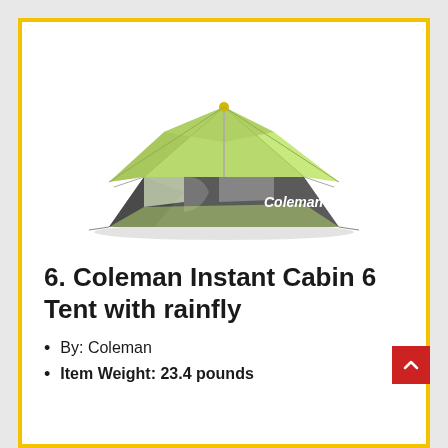[Figure (photo): Coleman Instant Cabin 6 tent with green and grey color scheme, viewed from front-side angle, showing mesh windows and Coleman branding on the side.]
6. Coleman Instant Cabin 6 Tent with rainfly
By: Coleman
Item Weight: 23.4 pounds